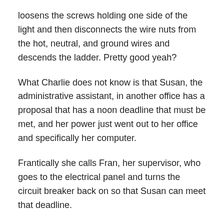loosens the screws holding one side of the light and then disconnects the wire nuts from the hot, neutral, and ground wires and descends the ladder. Pretty good yeah?
What Charlie does not know is that Susan, the administrative assistant, in another office has a proposal that has a noon deadline that must be met, and her power just went out to her office and specifically her computer.
Frantically she calls Fran, her supervisor, who goes to the electrical panel and turns the circuit breaker back on so that Susan can meet that deadline.
Charlie now has the base to the new light and is ready to hang it from the ceiling, he climbs the ladder and hooks one end of the light. The next step is to reconnect the